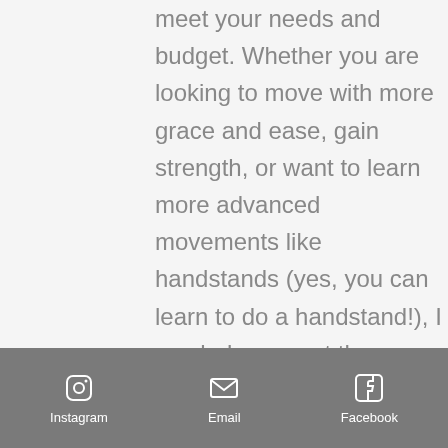meet your needs and budget. Whether you are looking to move with more grace and ease, gain strength, or want to learn more advanced movements like handstands (yes, you can learn to do a handstand!), I can help you get there.

Getting started is the hardest part of any new endeavor. All
Instagram  Email  Facebook